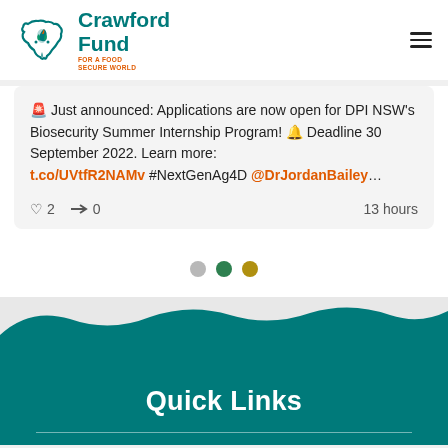Crawford Fund FOR A FOOD SECURE WORLD
🚨 Just announced: Applications are now open for DPI NSW's Biosecurity Summer Internship Program! 🔔 Deadline 30 September 2022. Learn more: t.co/UVtfR2NAMv #NextGenAg4D @DrJordanBailey…
♡ 2   ➤ 0   13 hours
[Figure (infographic): Three pagination dots: one gray, one dark green, one olive/yellow-green]
Quick Links